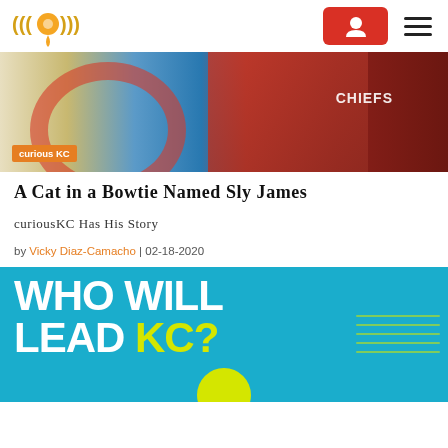curious KC logo and navigation
[Figure (photo): Kansas City Chiefs fan with a football and team flag, with an orange 'curious KC' tag at bottom left]
A Cat in a Bowtie Named Sly James
curiousKC Has His Story
by Vicky Diaz-Camacho | 02-18-2020
[Figure (photo): Blue background graphic with bold white text reading 'WHO WILL LEAD KC?' with yellow 'KC?' text and decorative lines]